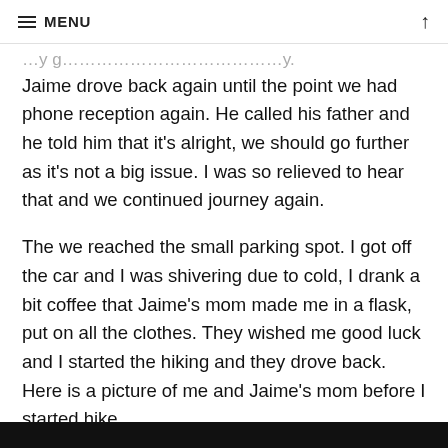≡ MENU ↑
Jaime drove back again until the point we had phone reception again. He called his father and he told him that it's alright, we should go further as it's not a big issue. I was so relieved to hear that and we continued journey again.
The we reached the small parking spot. I got off the car and I was shivering due to cold, I drank a bit coffee that Jaime's mom made me in a flask, put on all the clothes. They wished me good luck and I started the hiking and they drove back. Here is a picture of me and Jaime's mom before I started hike,